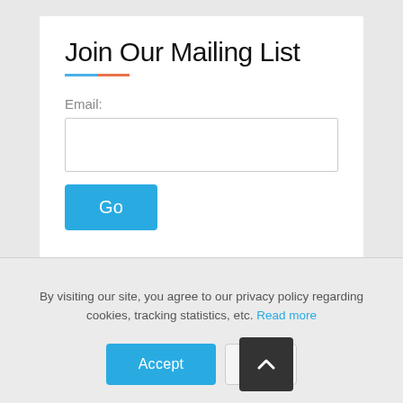Join Our Mailing List
Email:
[Figure (screenshot): Email input text field, empty, with border]
[Figure (screenshot): Blue 'Go' button]
By visiting our site, you agree to our privacy policy regarding cookies, tracking statistics, etc. Read more
[Figure (screenshot): Blue 'Accept' button, grey 'X' button, and dark grey scroll-to-top chevron button]